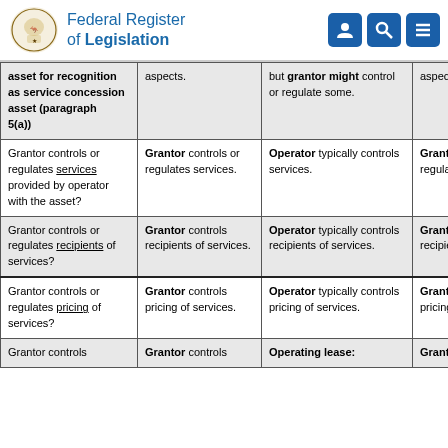Federal Register of Legislation
|  | Column 1 | Column 2 | Column 3 |
| --- | --- | --- | --- |
| asset for recognition as service concession asset (paragraph 5(a)) | aspects. | but grantor might control or regulate some. | aspects. |
| Grantor controls or regulates services provided by operator with the asset? | Grantor controls or regulates services. | Operator typically controls services. | Grantor regulates... |
| Grantor controls or regulates recipients of services? | Grantor controls recipients of services. | Operator typically controls recipients of services. | Grantor recipient... |
| Grantor controls or regulates pricing of services? | Grantor controls pricing of services. | Operator typically controls pricing of services. | Grantor pricing... |
| Grantor controls | Grantor controls | Operating lease: | Granto... |